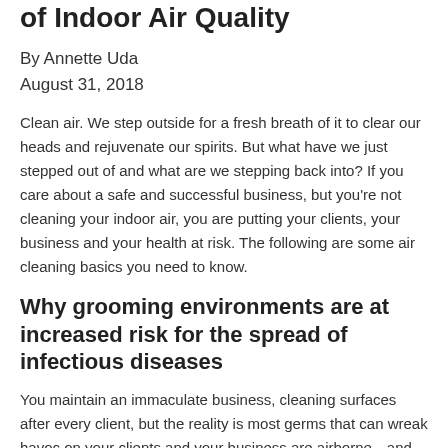of Indoor Air Quality
By Annette Uda
August 31, 2018
Clean air. We step outside for a fresh breath of it to clear our heads and rejuvenate our spirits. But what have we just stepped out of and what are we stepping back into? If you care about a safe and successful business, but you're not cleaning your indoor air, you are putting your clients, your business and your health at risk. The following are some air cleaning basics you need to know.
Why grooming environments are at increased risk for the spread of infectious diseases
You maintain an immaculate business, cleaning surfaces after every client, but the reality is most germs that can wreak havoc on your clients and your business are airborne—and they stay that